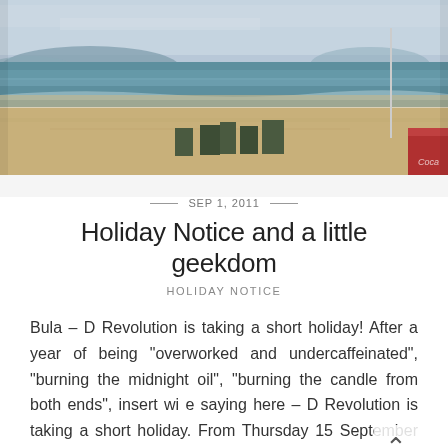[Figure (photo): Beach scene with sandy shore, ocean waves, turquoise water, distant hills/mountains, a flagpole on the right, and beach furniture/structures in the foreground. Overcast sky.]
SEP 1, 2011
Holiday Notice and a little geekdom
HOLIDAY NOTICE
Bula – D Revolution is taking a short holiday! After a year of being "overworked and undercaffeinated", "burning the midnight oil", "burning the candle from both ends", insert wi e saying here – D Revolution is taking a short holiday. From Thursday 15 September to Friday 23 September I will be ...